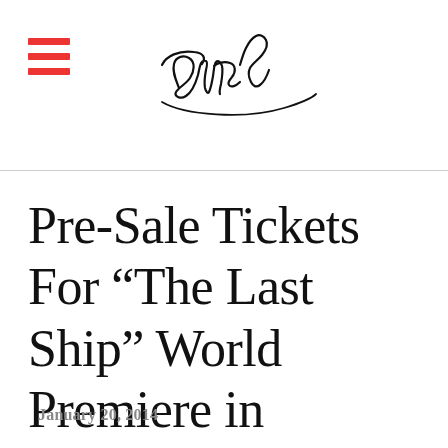Sting (logo)
Pre-Sale Tickets For "The Last Ship" World Premiere in Chicago!
January 20, 2014